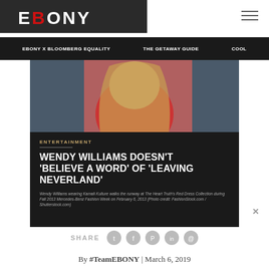EBONY
EBONY X BLOOMBERG EQUALITY | THE GETAWAY GUIDE | COOL
[Figure (photo): Photo of Wendy Williams wearing a red outfit with long blonde hair]
ENTERTAINMENT
WENDY WILLIAMS DOESN'T 'BELIEVE A WORD' OF 'LEAVING NEVERLAND'
Wendy Williams wearing Kamali Kulture walks the runway at The Heart Truth's Red Dress Collection during Fall 2013 Mercedes-Benz Fashion Week on February 6, 2013 (Photo credit: FashionStock.com / Shutterstock.com)
SHARE
By #TeamEBONY | March 6, 2019